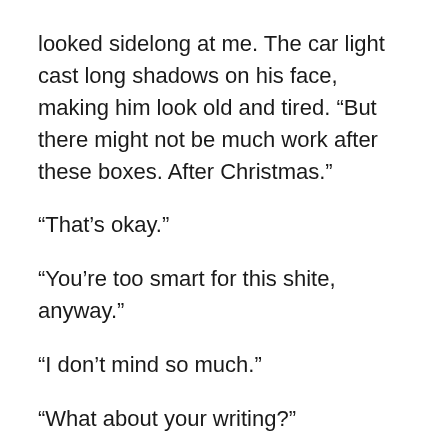looked sidelong at me. The car light cast long shadows on his face, making him look old and tired. "But there might not be much work after these boxes. After Christmas."
“That’s okay.”
“You’re too smart for this shite, anyway.”
“I don’t mind so much.”
“What about your writing?”
“I’ll never make anything at that.”
A car swept by, its beams carving out cones of rain. A big puddle covered the street, and beneath the car’s bumper the water churned like the wake of a paddle wheeler, floating by on the deluge.